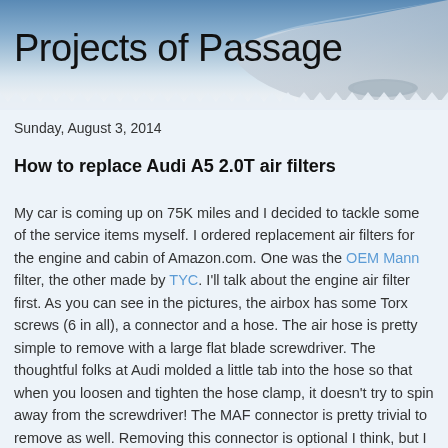Projects of Passage
Sunday, August 3, 2014
How to replace Audi A5 2.0T air filters
My car is coming up on 75K miles and I decided to tackle some of the service items myself. I ordered replacement air filters for the engine and cabin of Amazon.com. One was the OEM Mann filter, the other made by TYC. I'll talk about the engine air filter first. As you can see in the pictures, the airbox has some Torx screws (6 in all), a connector and a hose. The air hose is pretty simple to remove with a large flat blade screwdriver. The thoughtful folks at Audi molded a little tab into the hose so that when you loosen and tighten the hose clamp, it doesn't try to spin away from the screwdriver! The MAF connector is pretty trivial to remove as well. Removing this connector is optional I think, but I liked being